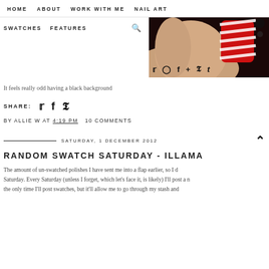HOME   ABOUT   WORK WITH ME   NAIL ART
SWATCHES   FEATURES
[Figure (photo): Close-up photo of hand with red and white striped nail art on a dark background, partially visible on the right side of the header.]
It feels really odd having a black background
SHARE:
BY ALLIE W AT 4:19 PM   10 COMMENTS
SATURDAY, 1 DECEMBER 2012
RANDOM SWATCH SATURDAY - ILLAMA
The amount of un-swatched polishes I have sent me into a flap earlier, so I decided to start Random Swatch Saturday. Every Saturday (unless I forget, which let's face it, is likely) I'll post a new swatch. This won't be the only time I'll post swatches, but it'll allow me to go through my stash and